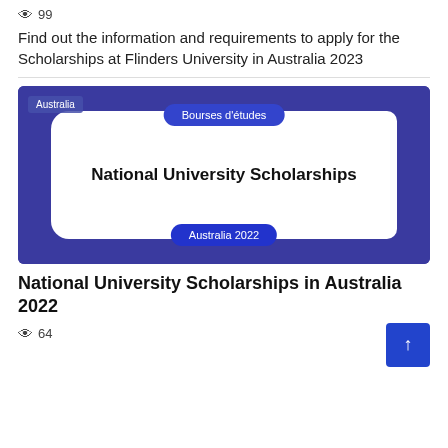👁 99
Find out the information and requirements to apply for the Scholarships at Flinders University in Australia 2023
[Figure (illustration): Promotional image with dark blue background showing 'National University Scholarships' in bold text on a white rounded card. A pill-shaped button reads 'Bourses d'études' at the top and 'Australia 2022' at the bottom. A small 'Australia' tag is in the top-left corner.]
National University Scholarships in Australia 2022
👁 64